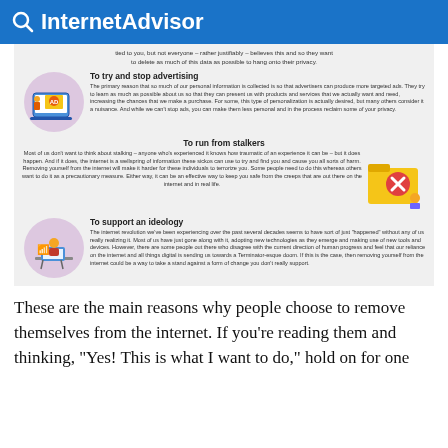🔍 InternetAdvisor
[Figure (infographic): Infographic with three sections: 'To try and stop advertising', 'To run from stalkers', 'To support an ideology', each with an illustration and explanatory text. Also includes a partial intro text about data and privacy at the top.]
These are the main reasons why people choose to remove themselves from the internet. If you're reading them and thinking, "Yes! This is what I want to do," hold on for one